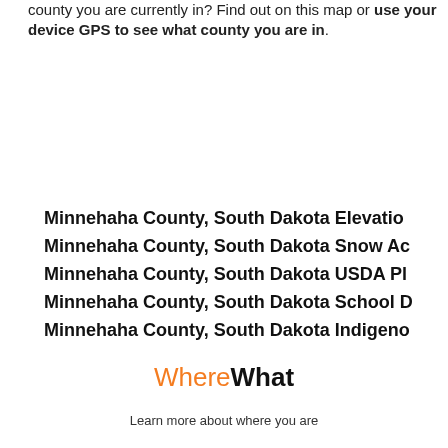county you are currently in? Find out on this map or use your device GPS to see what county you are in.
Minnehaha County, South Dakota Elevation
Minnehaha County, South Dakota Snow Ac
Minnehaha County, South Dakota USDA Pl
Minnehaha County, South Dakota School D
Minnehaha County, South Dakota Indigeno
[Figure (logo): WhereWhat logo with 'Where' in orange and 'What' in bold black]
Learn more about where you are